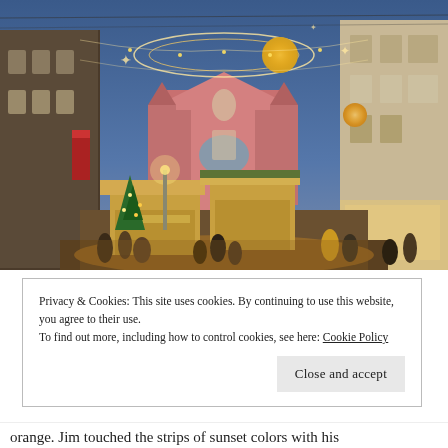[Figure (photo): A festive Christmas market street scene at dusk in what appears to be Ljubljana, Slovenia. The pedestrian street is decorated with elaborate light installations — a glowing Saturn-like planet with rings suspended overhead, star decorations, and fairy lights strung across the street. Market stalls with wooden roofs line the street, Christmas trees are decorated nearby, and crowds of people walk through. In the background stands a pink Baroque church (Franciscan Church of the Annunciation) and historic European buildings. The warm golden light of the market contrasts with the cool blue dusk sky.]
Privacy & Cookies: This site uses cookies. By continuing to use this website, you agree to their use.
To find out more, including how to control cookies, see here: Cookie Policy
Close and accept
orange. Jim touched the strips of sunset colors with his